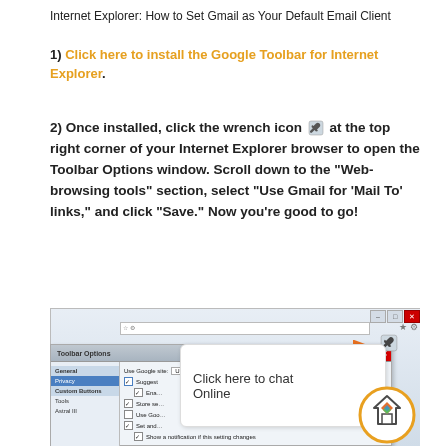Internet Explorer: How to Set Gmail as Your Default Email Client
1) Click here to install the Google Toolbar for Internet Explorer.
2) Once installed, click the wrench icon at the top right corner of your Internet Explorer browser to open the Toolbar Options window. Scroll down to the “Web-browsing tools” section, select “Use Gmail for ‘Mail To’ links,” and click “Save.” Now you’re good to go!
[Figure (screenshot): Screenshot of Internet Explorer browser window showing the Google Toolbar Options dialog with General settings panel visible, and a chat bubble overlay saying 'Click here to chat Online'. An orange arrow points to a wrench icon in the toolbar. A logo circle is visible in the bottom right.]